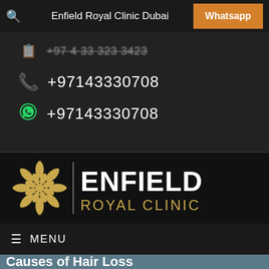Enfield Royal Clinic Dubai | Whatsapp
+97143330708 (phone)
+97143330708 (whatsapp)
[Figure (logo): Enfield Royal Clinic logo — gold floral mandala symbol with vertical divider and white ENFIELD text above gold ROYAL CLINIC text on dark background]
≡ MENU
Causes of Hair Loss